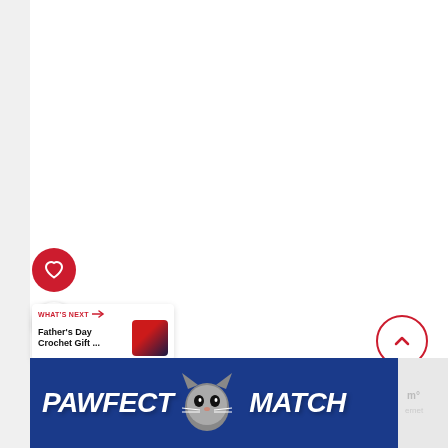[Figure (screenshot): Website UI screenshot showing a white content area with social media action buttons (heart/favorite button in red circle, share button in white circle), a scroll-to-top button in red outline circle on the right, a 'What's Next' navigation card showing 'Father's Day Crochet Gift ...' with a thumbnail image, and a 'PAWFECT MATCH' advertisement banner at the bottom featuring a cat image on a blue background with a close button.]